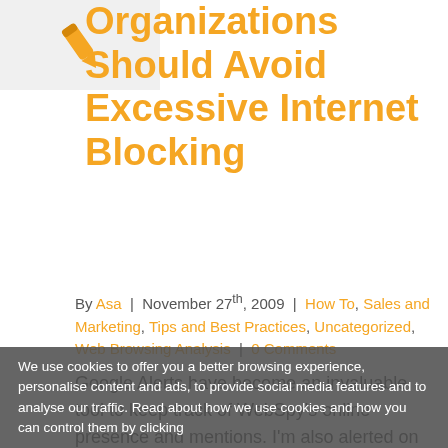[Figure (illustration): Orange pen/quill icon on light grey background]
Organizations Should Avoid Excessive Internet Blocking
By Asa | November 27th, 2009 | How To, Sales and Marketing, Tips and Best Practices, Uncategorized, Web Browsing Analysis | 0 Comments
Google Alerts have become an invaluable tool to keep track of WebSpy's online presence and mentions. I'm also alerted on keywords related to other players in the Internet Security Industry. The last couple of weeks I have noticed quite a steep increase in alerts on a well-known internet blocking and filtering vendor. Majority of these
We use cookies to offer you a better browsing experience, personalise content and ads, to provide social media features and to analyse our traffic. Read about how we use cookies and how you can control them by clicking